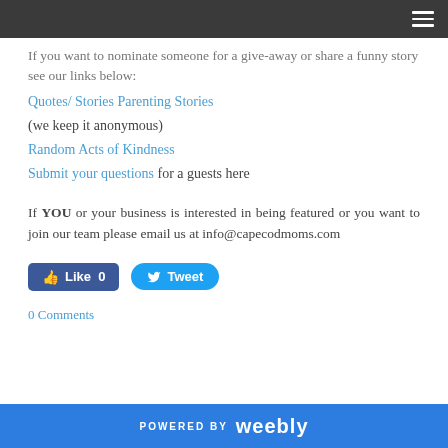If you want to nominate someone for a give-away or share a funny story see our links below:
Quotes/ Stories Parenting Stories
(we keep it anonymous)
Random Acts of Kindness
Submit your questions for a guests here
If YOU or your business is interested in being featured or you want to join our team please email us at info@capecodmoms.com
[Figure (other): Facebook Like button and Twitter Tweet button]
0 Comments
POWERED BY weebly